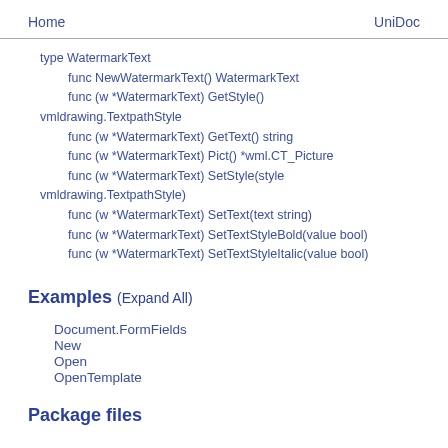Home    UniDoc
type WatermarkText
    func NewWatermarkText() WatermarkText
    func (w *WatermarkText) GetStyle() vmldrawing.TextpathStyle
    func (w *WatermarkText) GetText() string
    func (w *WatermarkText) Pict() *wml.CT_Picture
    func (w *WatermarkText) SetStyle(style vmldrawing.TextpathStyle)
    func (w *WatermarkText) SetText(text string)
    func (w *WatermarkText) SetTextStyleBold(value bool)
    func (w *WatermarkText) SetTextStyleItalic(value bool)
Examples (Expand All)
Document.FormFields
New
Open
OpenTemplate
Package files